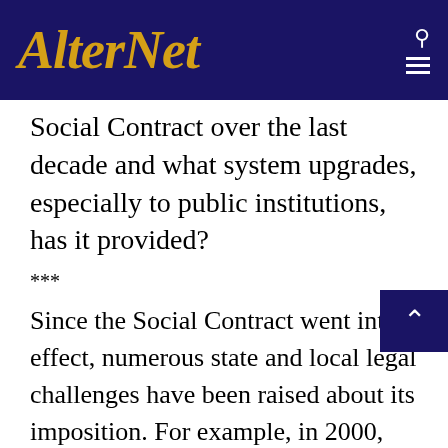AlterNet
Social Contract over the last decade and what system upgrades, especially to public institutions, has it provided?
***
Since the Social Contract went into effect, numerous state and local legal challenges have been raised about its imposition. For example, in 2000, Massachusetts’ Division of Cable Television conducted a hearing to determine whether Time Warner propose rate structures for the communities of Athol,